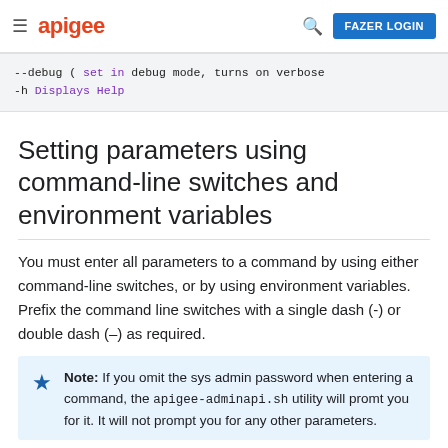apigee  FAZER LOGIN
--debug ( set in debug mode, turns on verbose
-h      Displays Help
Setting parameters using command-line switches and environment variables
You must enter all parameters to a command by using either command-line switches, or by using environment variables. Prefix the command line switches with a single dash (-) or double dash (–) as required.
Note: If you omit the sys admin password when entering a command, the apigee-adminapi.sh utility will promt you for it. It will not prompt you for any other parameters.